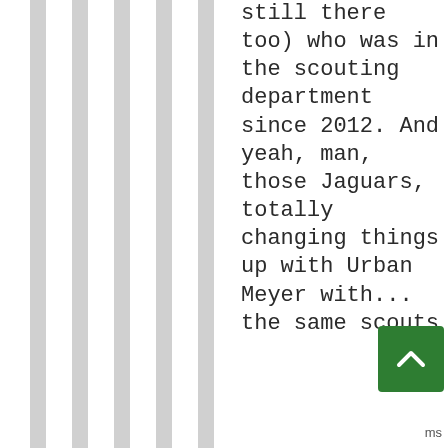still there too) who was in the scouting department since 2012. And yeah, man, those Jaguars, totally changing things up with Urban Meyer with... the same scouts